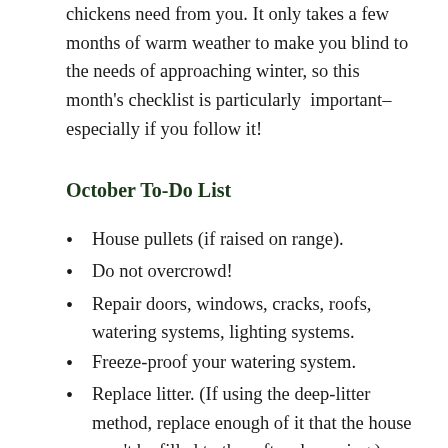chickens need from you. It only takes a few months of warm weather to make you blind to the needs of approaching winter, so this month's checklist is particularly important–especially if you follow it!
October To-Do List
House pullets (if raised on range).
Do not overcrowd!
Repair doors, windows, cracks, roofs, watering systems, lighting systems.
Freeze-proof your watering system.
Replace litter. (If using the deep-litter method, replace enough of it that the house won't be filled to the rafters by spring.)
Make a final culling of early molters (next month,